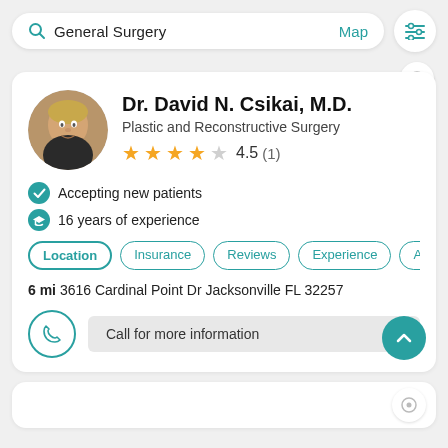General Surgery  Map
Dr. David N. Csikai, M.D.
Plastic and Reconstructive Surgery
4.5 (1)
Accepting new patients
16 years of experience
Location  Insurance  Reviews  Experience  Abo
6 mi  3616 Cardinal Point Dr Jacksonville FL 32257
Call for more information